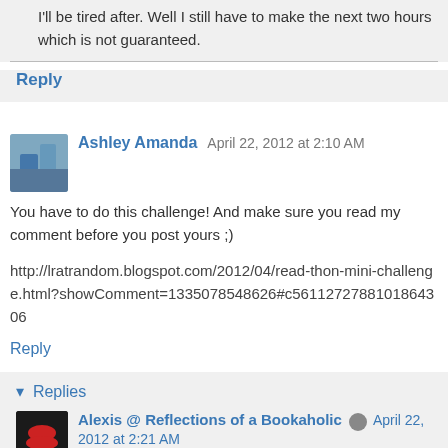I'll be tired after. Well I still have to make the next two hours which is not guaranteed.
Reply
Ashley Amanda  April 22, 2012 at 2:10 AM
You have to do this challenge! And make sure you read my comment before you post yours ;)
http://lratrandom.blogspot.com/2012/04/read-thon-mini-challenge.html?showComment=1335078548626#c5611272788101864306
Reply
Replies
Alexis @ Reflections of a Bookaholic  April 22, 2012 at 2:21 AM
Loved it! I definitely got you back!